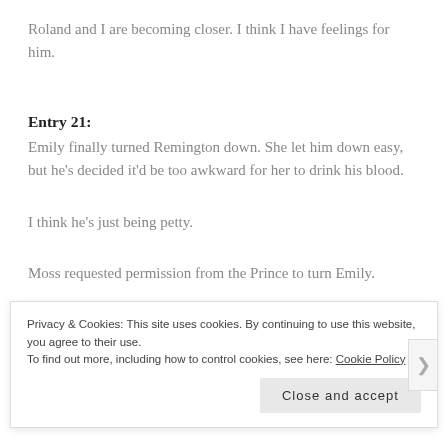Roland and I are becoming closer. I think I have feelings for him.
Entry 21:
Emily finally turned Remington down. She let him down easy, but he's decided it'd be too awkward for her to drink his blood.
I think he's just being petty.
Moss requested permission from the Prince to turn Emily.
Privacy & Cookies: This site uses cookies. By continuing to use this website, you agree to their use.
To find out more, including how to control cookies, see here: Cookie Policy
Close and accept